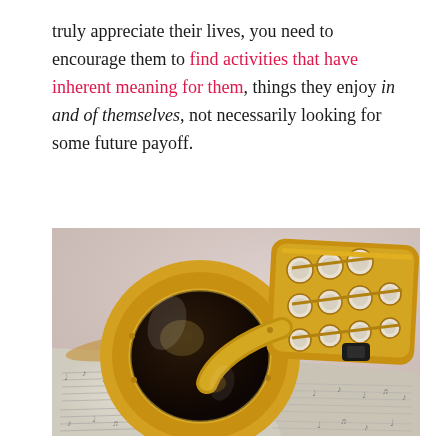truly appreciate their lives, you need to encourage them to find activities that have inherent meaning for them, things they enjoy in and of themselves, not necessarily looking for some future payoff.
[Figure (photo): A gold saxophone lying on sheet music, viewed from the bell end, with keys and pads visible in the background.]